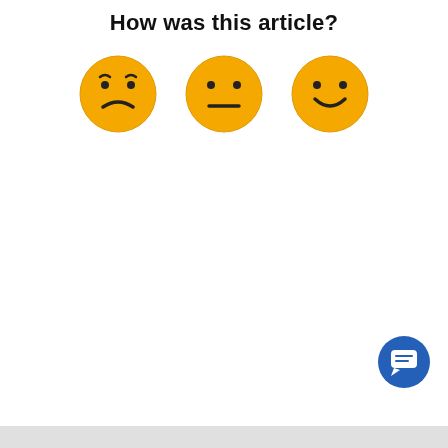How was this article?
[Figure (illustration): Three emoji feedback faces: sad (frowning), neutral, and happy (smiling), rendered as orange circles with facial expressions.]
[Figure (illustration): Blue circular chat/support button icon in the bottom-right corner with a speech bubble icon inside.]